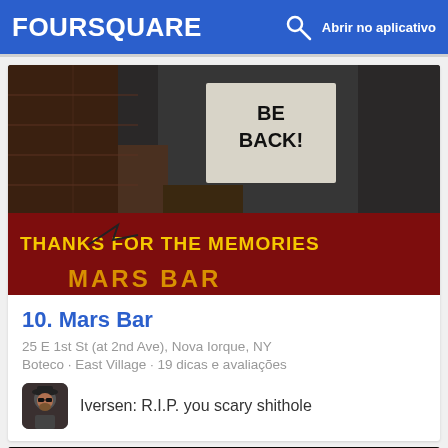FOURSQUARE  Abrir no aplicativo
[Figure (photo): Photo of Mars Bar exterior showing graffiti sign reading 'THANKS FOR THE MEMORIES MARS BAR' and a white paper sign saying 'BE BACK']
10. Mars Bar
25 E 1st St (at 2nd Ave), Nova Iorque, NY
Boteco · East Village · 19 dicas e avaliações
Iversen: R.I.P. you scary shithole
[Figure (photo): Partial photo of a dark bar interior with warm orange/red lighting visible at the bottom of the page]